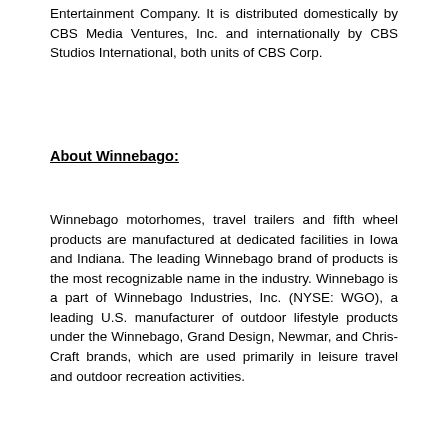Entertainment Company. It is distributed domestically by CBS Media Ventures, Inc. and internationally by CBS Studios International, both units of CBS Corp.
About Winnebago:
Winnebago motorhomes, travel trailers and fifth wheel products are manufactured at dedicated facilities in Iowa and Indiana. The leading Winnebago brand of products is the most recognizable name in the industry. Winnebago is a part of Winnebago Industries, Inc. (NYSE: WGO), a leading U.S. manufacturer of outdoor lifestyle products under the Winnebago, Grand Design, Newmar, and Chris-Craft brands, which are used primarily in leisure travel and outdoor recreation activities.